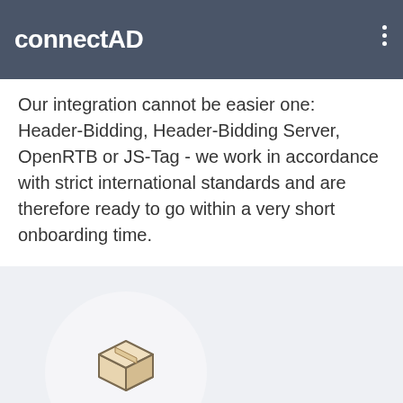connectAD
Our integration cannot be easier one: Header-Bidding, Header-Bidding Server, OpenRTB or JS-Tag - we work in accordance with strict international standards and are therefore ready to go within a very short onboarding time.
See our Wiki >
[Figure (illustration): A cardboard box icon inside a white circle on a light grey background section]